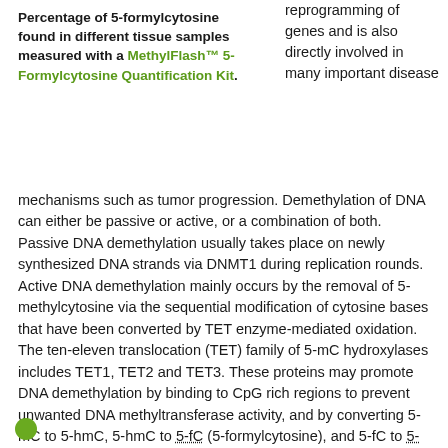Percentage of 5-formylcytosine found in different tissue samples measured with a MethylFlash™ 5-Formylcytosine Quantification Kit.
reprogramming of genes and is also directly involved in many important disease mechanisms such as tumor progression. Demethylation of DNA can either be passive or active, or a combination of both. Passive DNA demethylation usually takes place on newly synthesized DNA strands via DNMT1 during replication rounds. Active DNA demethylation mainly occurs by the removal of 5-methylcytosine via the sequential modification of cytosine bases that have been converted by TET enzyme-mediated oxidation. The ten-eleven translocation (TET) family of 5-mC hydroxylases includes TET1, TET2 and TET3. These proteins may promote DNA demethylation by binding to CpG rich regions to prevent unwanted DNA methyltransferase activity, and by converting 5-mC to 5-hmC, 5-hmC to 5-fC (5-formylcytosine), and 5-fC to 5-caC (5-carboxylcytosine) through hydroxylase activity. The TET proteins have been shown to function in transcriptional activation and repression (TET1), tumor suppressor (TET2), and DNA methylation